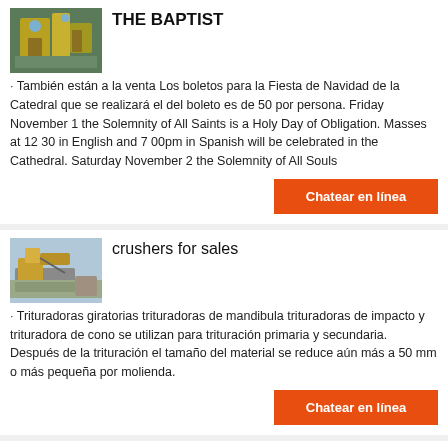[Figure (photo): Industrial machinery, yellow processing equipment]
THE BAPTIST
· También están a la venta Los boletos para la Fiesta de Navidad de la Catedral que se realizará el del boleto es de 50 por persona. Friday November 1 the Solemnity of All Saints is a Holy Day of Obligation. Masses at 12 30 in English and 7 00pm in Spanish will be celebrated in the Cathedral. Saturday November 2 the Solemnity of All Souls
Chatear en línea
[Figure (photo): Yellow industrial crusher machine with gravel/rocks]
crushers for sales
· Trituradoras giratorias trituradoras de mandibula trituradoras de impacto y trituradora de cono se utilizan para trituración primaria y secundaria. Después de la trituración el tamaño del material se reduce aún más a 50 mm o más pequeña por molienda.
Chatear en línea
[Figure (photo): Dark street/road scene photo]
OfferUp
nearby. Chanel Mini Samples Parfum. 10.00.